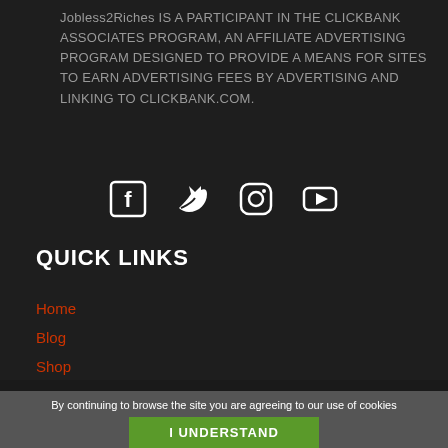Jobless2Riches IS A PARTICIPANT IN THE CLICKBANK ASSOCIATES PROGRAM, AN AFFILIATE ADVERTISING PROGRAM DESIGNED TO PROVIDE A MEANS FOR SITES TO EARN ADVERTISING FEES BY ADVERTISING AND LINKING TO CLICKBANK.COM.
[Figure (infographic): Row of four social media icons: Facebook, Twitter, Instagram, YouTube — white on dark background]
QUICK LINKS
Home
Blog
Shop
Contact Us
About
By continuing to browse the site you are agreeing to our use of cookies
I UNDERSTAND